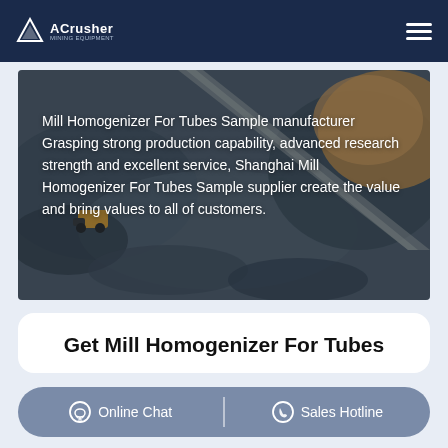ACrusher
[Figure (photo): Aerial view of a mining or quarry site with heavy equipment, rocky terrain in grey and brown tones, with a conveyor or road cutting through.]
Mill Homogenizer For Tubes Sample manufacturer Grasping strong production capability, advanced research strength and excellent service, Shanghai Mill Homogenizer For Tubes Sample supplier create the value and bring values to all of customers.
Get Mill Homogenizer For Tubes
Online Chat
Sales Hotline